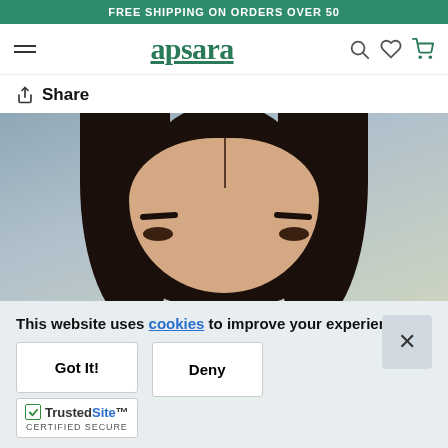FREE SHIPPING ON ORDERS OVER 50
[Figure (screenshot): Apsara website navigation bar with hamburger menu icon on left, 'apsara' logo in dark green serif font in center, and search, heart/wishlist, and shopping cart icons on right]
Share
[Figure (photo): Close-up photo of a young woman with long dark hair parted in the middle, showing her eyes with dark eyebrows and eye makeup, against a blurred background]
This website uses cookies to improve your experience.
Got It!
Deny
[Figure (logo): TrustedSite Certified Secure badge with green checkmark]
TrustedSite CERTIFIED SECURE